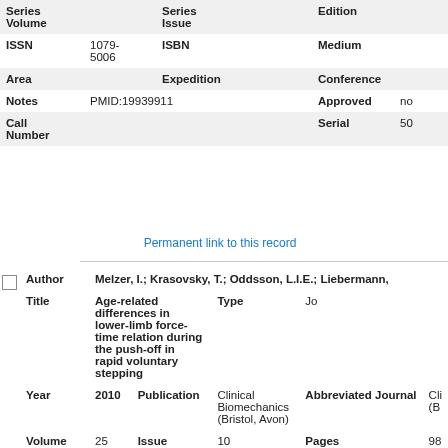| Field | Value | Field | Value | Field | Value |
| --- | --- | --- | --- | --- | --- |
| Series Volume |  | Series Issue |  | Edition |  |
| ISSN | 1079-5006 | ISBN |  | Medium |  |
| Area |  | Expedition |  | Conference |  |
| Notes | PMID:19939911 |  |  | Approved | no |
| Call Number |  |  |  | Serial | 50 |
Permanent link to this record
| Field | Value | Field | Value |
| --- | --- | --- | --- |
| Author | Melzer, I.; Krasovsky, T.; Oddsson, L.I.E.; Liebermann, |  |  |
| Title | Age-related differences in lower-limb force-time relation during the push-off in rapid voluntary stepping | Type | Jo |
| Year | 2010 | Publication | Clinical Biomechanics (Bristol, Avon) | Abbreviated Journal | Cli (B |
| Volume | 25 | Issue | 10 | Pages | 98 |
| Keywords | Accidental Falls/prevention & control; Age Factors; Aged; A |  |  |